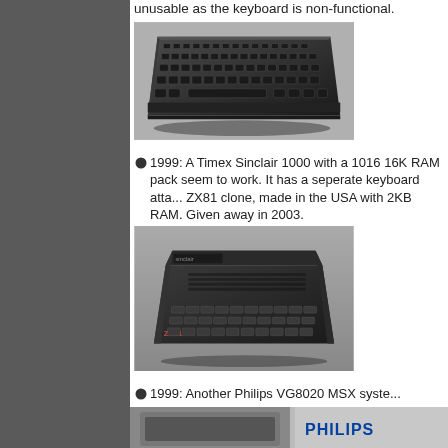unusable as the keyboard is non-functional.
[Figure (photo): Photo of a dark keyboard peripheral, viewed at an angle from above, showing rows of keys on a sleek black casing]
1999: A Timex Sinclair 1000 with a 1016 16K RAM pack seem to work. It has a seperate keyboard attached. A ZX81 clone, made in the USA with 2KB RAM. Given away in 2003.
[Figure (photo): Photo of a ZX81 clone computer (Timex Sinclair 1000) with keyboard attachment, dark casing, viewed at angle]
1999: Another Philips VG8020 MSX system
[Figure (photo): Photo showing a Philips MSX computer system, with PHILIPS branding visible]